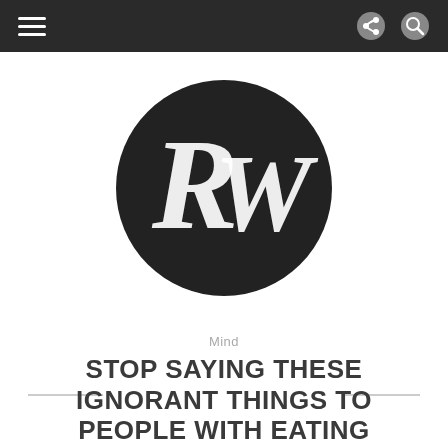Navigation bar with hamburger menu, share icon, and search icon
[Figure (logo): RW logo — circular dark background with stylized white script letters R and W]
Mind
STOP SAYING THESE IGNORANT THINGS TO PEOPLE WITH EATING